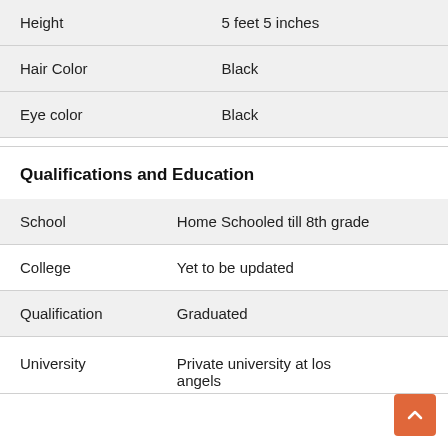|  |  |
| --- | --- |
| Height | 5 feet 5 inches |
| Hair Color | Black |
| Eye color | Black |
Qualifications and Education
|  |  |
| --- | --- |
| School | Home Schooled till 8th grade |
| College | Yet to be updated |
| Qualification | Graduated |
| University | Private university at los angels |